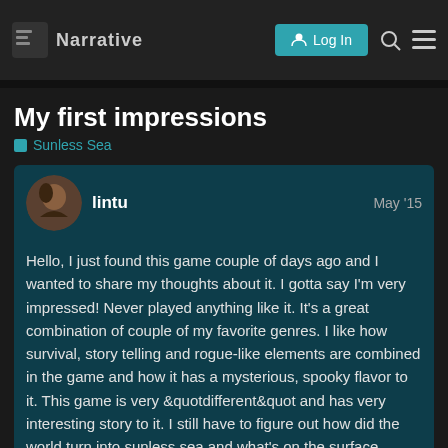Discourse forum navigation — Log In
My first impressions
Sunless Sea
lintu  May '15
Hello, I just found this game couple of days ago and I wanted to share my thoughts about it. I gotta say I'm very impressed! Never played anything like it. It's a great combination of couple of my favorite genres. I like how survival, story telling and rogue-like elements are combined in the game and how it has a mysterious, spooky flavor to it. This game is very &quotdifferent&quot and has very interesting story to it. I still have to figure out how did the world turn into sunless sea and what's on the surface…
The gameplay is quite nice, provision syste enjoyable. But I quickly ran out of money t
1 / 4